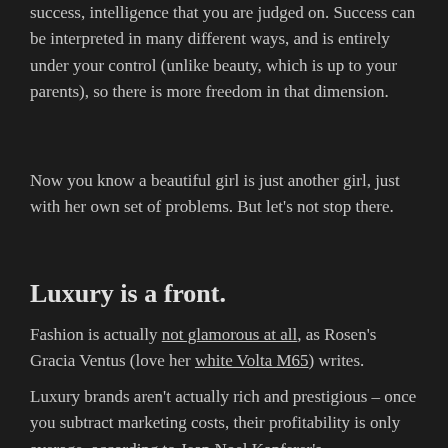success, intelligence that you are judged on. Success can be interpreted in many different ways, and is entirely under your control (unlike beauty, which is up to your parents), so there is more freedom in that dimension.
Now you know a beautiful girl is just another girl, just with her own set of problems. But let's not stop there.
Luxury is a front.
Fashion is actually not glamorous at all, as Rosen's Gracia Ventus (love her white Volta M65) writes.
Luxury brands aren't actually rich and prestigious – once you subtract marketing costs, their profitability is only average, according to Jean Noel Kapferer's